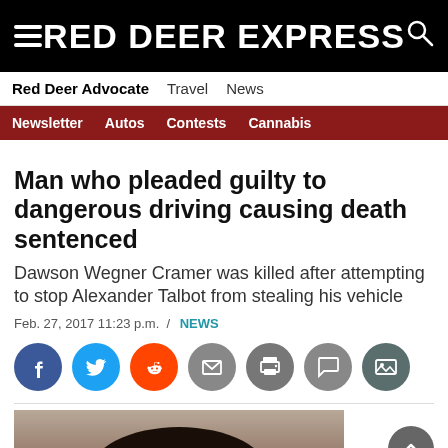RED DEER EXPRESS
Red Deer Advocate   Travel   News
Newsletter   Autos   Contests   Cannabis
Man who pleaded guilty to dangerous driving causing death sentenced
Dawson Wegner Cramer was killed after attempting to stop Alexander Talbot from stealing his vehicle
Feb. 27, 2017 11:23 p.m.  /  NEWS
[Figure (screenshot): Social sharing icons: Facebook, Twitter, Reddit, Email, Print, Comment, Image]
[Figure (photo): Partial photo showing top of a person's head with dark hair]